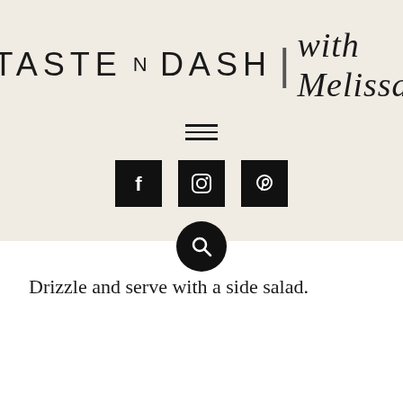TASTE N DASH | with Melissa
[Figure (other): Hamburger menu icon with three horizontal lines]
[Figure (other): Social media icons: Facebook (f), Instagram (camera), Pinterest (p) in black square buttons, and a search magnifying glass icon in a black circle]
Drizzle and serve with a side salad.